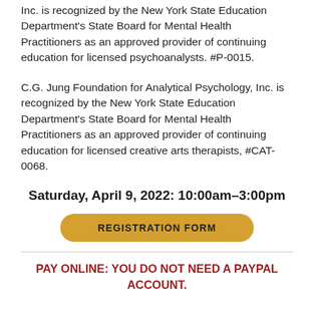Inc. is recognized by the New York State Education Department's State Board for Mental Health Practitioners as an approved provider of continuing education for licensed psychoanalysts. #P-0015.
C.G. Jung Foundation for Analytical Psychology, Inc. is recognized by the New York State Education Department's State Board for Mental Health Practitioners as an approved provider of continuing education for licensed creative arts therapists, #CAT-0068.
Saturday, April 9, 2022: 10:00am–3:00pm
REGISTRATION FORM
PAY ONLINE: YOU DO NOT NEED A PAYPAL ACCOUNT.